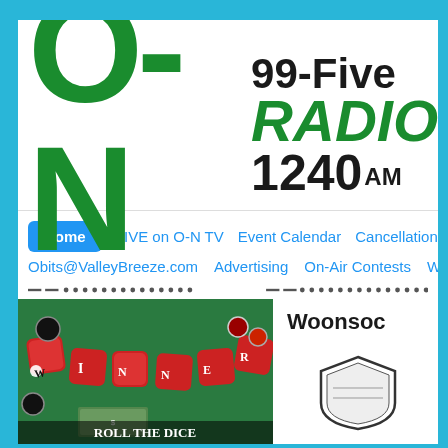[Figure (logo): O-N Radio logo with large green O-N letters and 99-Five RADIO 1240 AM text in black and green]
Home | LIVE on O-N TV | Event Calendar | Cancellations | Obits@ValleyBreeze.com | Advertising | On-Air Contests | We...
[Figure (photo): Promotional image showing red dice spelling WINNER on a green felt surface with casino chips and cash, text ROLL THE DICE at bottom]
Woonso...